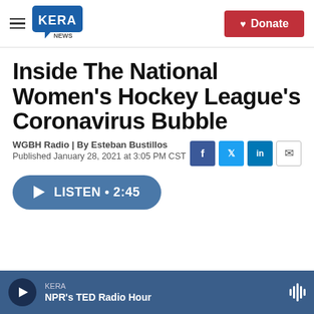KERA NEWS | Donate
Inside The National Women's Hockey League's Coronavirus Bubble
WGBH Radio | By Esteban Bustillos
Published January 28, 2021 at 3:05 PM CST
LISTEN • 2:45
KERA
NPR's TED Radio Hour